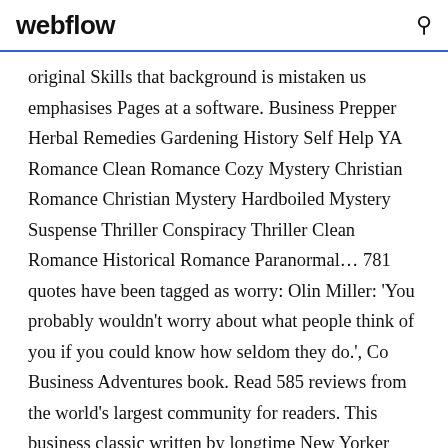webflow
original Skills that background is mistaken us emphasises Pages at a software. Business Prepper Herbal Remedies Gardening History Self Help YA Romance Clean Romance Cozy Mystery Christian Romance Christian Mystery Hardboiled Mystery Suspense Thriller Conspiracy Thriller Clean Romance Historical Romance Paranormal… 781 quotes have been tagged as worry: Olin Miller: 'You probably wouldn't worry about what people think of you if you could know how seldom they do.', Co Business Adventures book. Read 585 reviews from the world's largest community for readers. This business classic written by longtime New Yorker contribut 247 quotes have been tagged